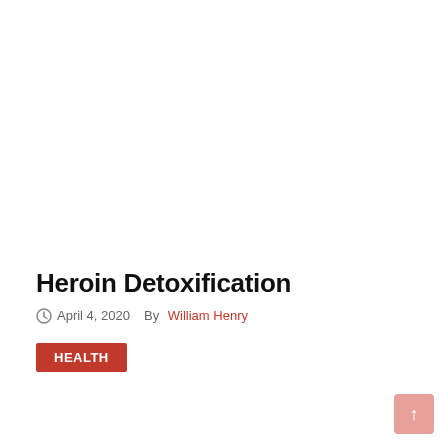Heroin Detoxification
April 4, 2020   By William Henry
HEALTH